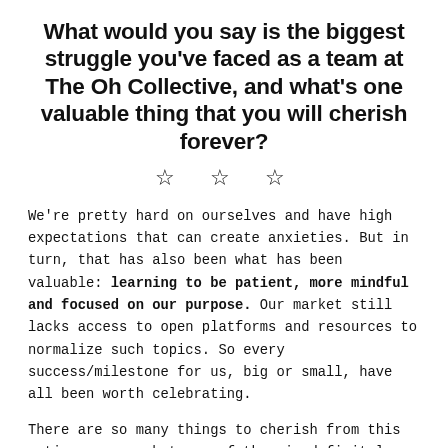What would you say is the biggest struggle you've faced as a team at The Oh Collective, and what's one valuable thing that you will cherish forever?
[Figure (other): Three decorative outlined star symbols used as a section divider]
We're pretty hard on ourselves and have high expectations that can create anxieties. But in turn, that has also been what has been valuable: learning to be patient, more mindful and focused on our purpose. Our market still lacks access to open platforms and resources to normalize such topics. So every success/milestone for us, big or small, have all been worth celebrating.
There are so many things to cherish from this entire process but one of them is definitely the people we have